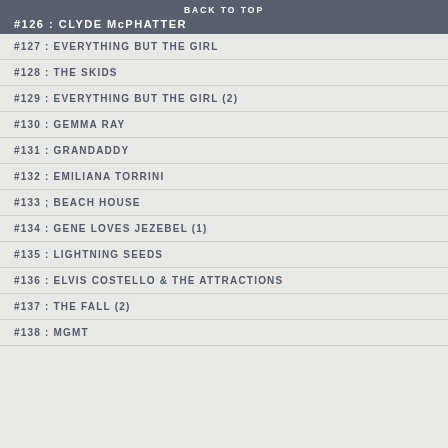BACK TO TOP
#126 : CLYDE McPHATTER
#127 : EVERYTHING BUT THE GIRL
#128 : THE SKIDS
#129 : EVERYTHING BUT THE GIRL (2)
#130 : GEMMA RAY
#131 : GRANDADDY
#132 : EMILIANA TORRINI
#133 ; BEACH HOUSE
#134 : GENE LOVES JEZEBEL (1)
#135 : LIGHTNING SEEDS
#136 : ELVIS COSTELLO & THE ATTRACTIONS
#137 : THE FALL (2)
#138 : MGMT